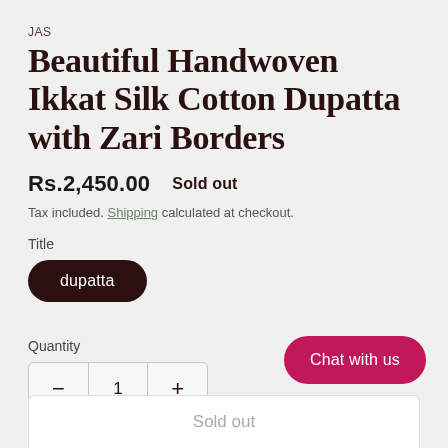JAS
Beautiful Handwoven Ikkat Silk Cotton Dupatta with Zari Borders
Rs.2,450.00   Sold out
Tax included. Shipping calculated at checkout.
Title
dupatta
Quantity
− 1 +
Chat with us
Sold out